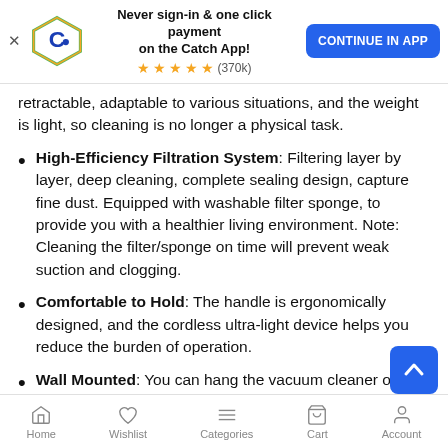[Figure (screenshot): Catch app promotional banner with logo, stars rating (370k), and CONTINUE IN APP button]
retractable, adaptable to various situations, and the weight is light, so cleaning is no longer a physical task.
High-Efficiency Filtration System: Filtering layer by layer, deep cleaning, complete sealing design, capture fine dust. Equipped with washable filter sponge, to provide you with a healthier living environment. Note: Cleaning the filter/sponge on time will prevent weak suction and clogging.
Comfortable to Hold: The handle is ergonomically designed, and the cordless ultra-light device helps you reduce the burden of operation.
Wall Mounted: You can hang the vacuum cleaner on the upper wall mount bracket after use. Not only saves your living space, but also keeps it clean and hygienic.
Home  Wishlist  Categories  Cart  Account